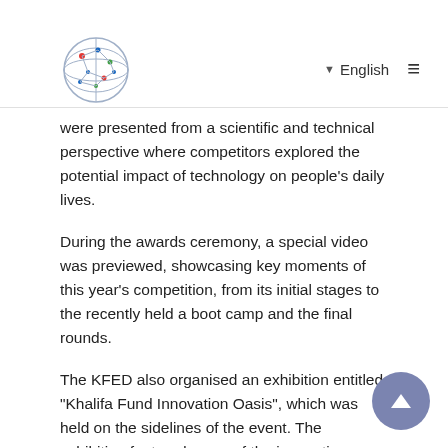English
[Figure (logo): Circular logo with globe/network pattern in blue, red, green dots]
were presented from a scientific and technical perspective where competitors explored the potential impact of technology on people's daily lives.
During the awards ceremony, a special video was previewed, showcasing key moments of this year's competition, from its initial stages to the recently held a boot camp and the final rounds.
The KFED also organised an exhibition entitled, "Khalifa Fund Innovation Oasis", which was held on the sidelines of the event. The exhibition featured some of the innovative projects of the fund and its strategic partners.
The third edition of the competition represents a collaboration between the KFED and its local and strategic partners, including the Dubai SME, Sandooq Al Watan, the Khalifa Innovation Centre, the Abu Dhabi Global Market, the Higher Colleges of Technology, StartAD, the Takamul